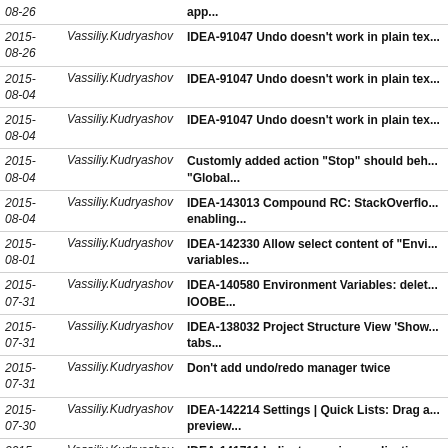| Date | Author | Message |
| --- | --- | --- |
| 2015-08-26 | Vassiliy.Kudryashov | app... |
| 2015-08-26 | Vassiliy.Kudryashov | IDEA-91047 Undo doesn't work in plain tex... |
| 2015-08-04 | Vassiliy.Kudryashov | IDEA-91047 Undo doesn't work in plain tex... |
| 2015-08-04 | Vassiliy.Kudryashov | IDEA-91047 Undo doesn't work in plain tex... |
| 2015-08-04 | Vassiliy.Kudryashov | Customly added action "Stop" should beh... "Global... |
| 2015-08-04 | Vassiliy.Kudryashov | IDEA-143013 Compound RC: StackOverflo... enabling... |
| 2015-08-01 | Vassiliy.Kudryashov | IDEA-142330 Allow select content of "Envi... variables... |
| 2015-07-31 | Vassiliy.Kudryashov | IDEA-140580 Environment Variables: delet... IOOBE... |
| 2015-07-31 | Vassiliy.Kudryashov | IDEA-138032 Project Structure View 'Show... tabs... |
| 2015-07-31 | Vassiliy.Kudryashov | Don't add undo/redo manager twice |
| 2015-07-30 | Vassiliy.Kudryashov | IDEA-142214 Settings | Quick Lists: Drag a... preview... |
| 2015-07-30 | Vassiliy.Kudryashov | IDEA-141711 Indicate running applications... |
| 2015-07-30 | Vassiliy.Kudryashov | Reliable tool window activation from Swit... |
| 2015-07-29 | Vassiliy.Kudryashov | IDEA-143013 Compound RC: StackOverflo... enabling... |